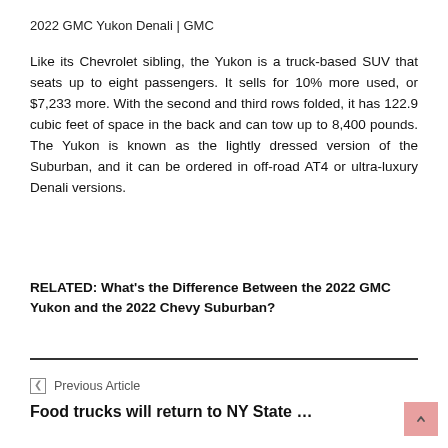2022 GMC Yukon Denali | GMC
Like its Chevrolet sibling, the Yukon is a truck-based SUV that seats up to eight passengers. It sells for 10% more used, or $7,233 more. With the second and third rows folded, it has 122.9 cubic feet of space in the back and can tow up to 8,400 pounds. The Yukon is known as the lightly dressed version of the Suburban, and it can be ordered in off-road AT4 or ultra-luxury Denali versions.
RELATED: What's the Difference Between the 2022 GMC Yukon and the 2022 Chevy Suburban?
Previous Article
Food trucks will return to NY State …